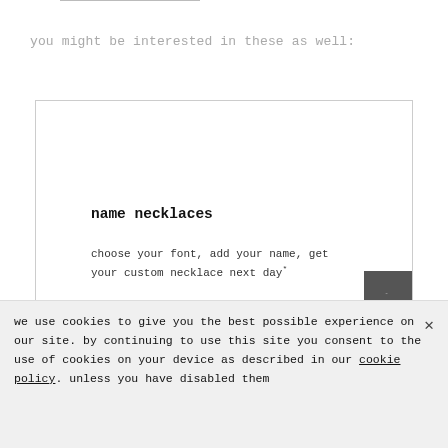you might be interested in these as well:
[Figure (other): Product card for name necklaces with image area at top, title 'name necklaces', description text, and shop now button. Navigation arrow on right side.]
name necklaces
choose your font, add your name, get your custom necklace next day*
shop now
we use cookies to give you the best possible experience on our site. by continuing to use this site you consent to the use of cookies on your device as described in our cookie policy. unless you have disabled them